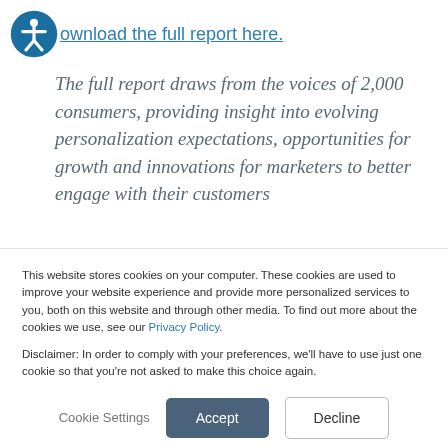Download the full report here.
The full report draws from the voices of 2,000 consumers, providing insight into evolving personalization expectations, opportunities for growth and innovations for marketers to better engage with their customers
This website stores cookies on your computer. These cookies are used to improve your website experience and provide more personalized services to you, both on this website and through other media. To find out more about the cookies we use, see our Privacy Policy.
Disclaimer: In order to comply with your preferences, we'll have to use just one cookie so that you're not asked to make this choice again.
Cookie Settings  Accept  Decline